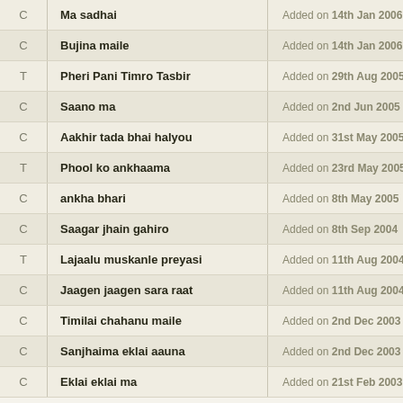| Type | Title | Date Added |
| --- | --- | --- |
| C | Ma sadhai | Added on 14th Jan 2006 |
| C | Bujina maile | Added on 14th Jan 2006 |
| T | Pheri Pani Timro Tasbir | Added on 29th Aug 2005 |
| C | Saano ma | Added on 2nd Jun 2005 |
| C | Aakhir tada bhai halyou | Added on 31st May 2005 |
| T | Phool ko ankhaama | Added on 23rd May 2005 |
| C | ankha bhari | Added on 8th May 2005 |
| C | Saagar jhain gahiro | Added on 8th Sep 2004 |
| T | Lajaalu muskanle preyasi | Added on 11th Aug 2004 |
| C | Jaagen jaagen sara raat | Added on 11th Aug 2004 |
| C | Timilai chahanu maile | Added on 2nd Dec 2003 |
| C | Sanjhaima eklai aauna | Added on 2nd Dec 2003 |
| C | Eklai eklai ma | Added on 21st Feb 2003 |